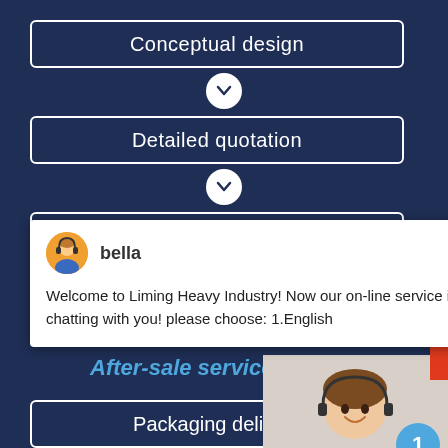[Figure (flowchart): Process flow diagram on dark navy background showing steps: Conceptual design, Detailed quotation, Sign a contract, After-sale service, Packaging delivery, connected by downward chevron arrows in circles]
[Figure (screenshot): Live chat popup from Liming Heavy Industry website showing avatar of 'bella' with message: Welcome to Liming Heavy Industry! Now our on-line service is chatting with you! please choose: 1.English]
[Figure (infographic): Customer service panel on right side showing a woman with headset, a blue circle badge with number 1, 'Need questions & suggestion?' text, Chat Now red button, and Enquire strip at bottom]